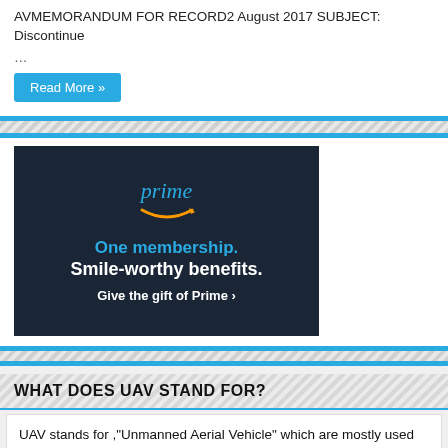AVMEMORANDUM FOR RECORD2 August 2017 SUBJECT: Discontinue
...
Read More »
[Figure (illustration): Amazon Prime advertisement: dark navy background with 'prime' in blue italic text and Amazon smile logo, 'One membership. Smile-worthy benefits. Give the gift of Prime ›']
WHAT DOES UAV STAND FOR?
UAV stands for ,"Unmanned Aerial Vehicle" which are mostly used by the military and law enforcement. The UAV is a remotely piloted aircraft's (RPA), also refereed to as Drones, that can be remotely piloted from anywhere in the world.